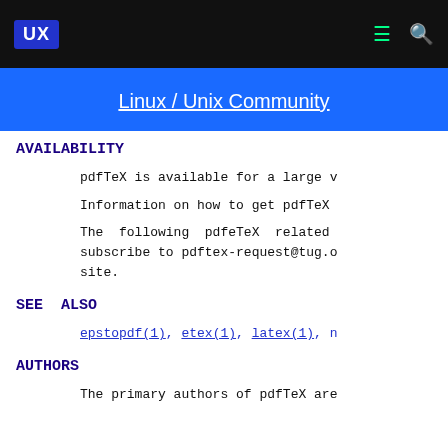UX  Linux / Unix Community
AVAILABILITY
pdfTeX is available for a large v
Information on how to get pdfTeX
The following pdfeTeX related subscribe to pdftex-request@tug.o site.
SEE ALSO
epstopdf(1), etex(1), latex(1), n
AUTHORS
The primary authors of pdfTeX are